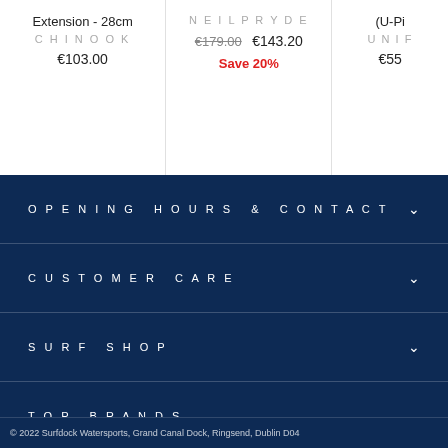Extension - 28cm
CHINOOK
€103.00
NEILPRYDE
€179.00  €143.20
Save 20%
(U-Pi...
UNIF...
€55...
OPENING HOURS & CONTACT
CUSTOMER CARE
SURF SHOP
TOP BRANDS
Ireland (EUR €)
© 2022 Surfdock Watersports, Grand Canal Dock, Ringsend, Dublin D04